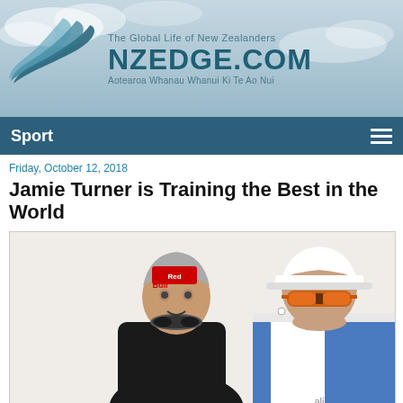[Figure (logo): NZEDGE.COM logo with taglines 'The Global Life of New Zealanders' and 'Aotearoa Whanau Whanui Ki Te Ao Nui' on a cloudy sky background with a swoosh/wing graphic]
Sport
Friday, October 12, 2018
Jamie Turner is Training the Best in the World
[Figure (photo): Two people: a swimmer in a wetsuit wearing a Red Bull swim cap and goggles around neck, and a man in a white cap with orange-lensed sunglasses and blue/white shirt, standing side by side outdoors]